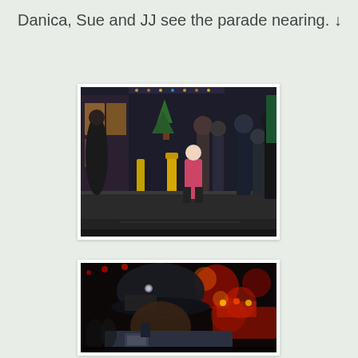Danica, Sue and JJ see the parade nearing. ↓
[Figure (photo): Night street scene showing people standing on a city street watching a parade approach. A child in a pink/red coat is bending forward with excitement. Yellow bollards and storefronts with holiday lights are visible in the background.]
[Figure (photo): A firefighter wearing a helmet with a light, crouching or leaning forward, with blurred red and orange parade lights and a fire truck visible in the background at night.]